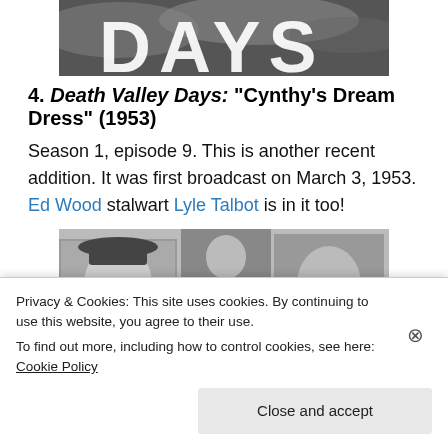[Figure (photo): Partial black-and-white photo showing the word DAYS in large letters against a dramatic sky background, cropped at top of page]
4. Death Valley Days: "Cynthy's Dream Dress" (1953)
Season 1, episode 9. This is another recent addition. It was first broadcast on March 3, 1953. Ed Wood stalwart Lyle Talbot is in it too!
[Figure (photo): Black-and-white photo collage showing four actors, including a young man in a cowboy hat on the left, two men in the middle panels, and a bearded man on the right]
Privacy & Cookies: This site uses cookies. By continuing to use this website, you agree to their use.
To find out more, including how to control cookies, see here: Cookie Policy